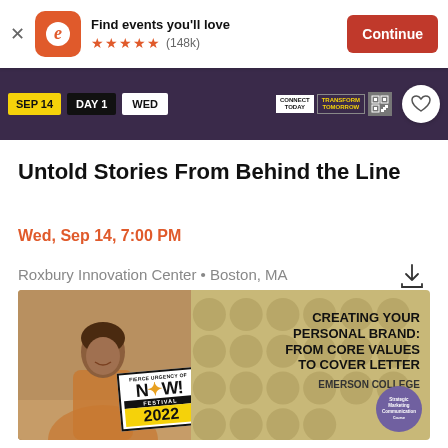[Figure (screenshot): Eventbrite app install banner with orange logo, 'Find events you'll love' text, 5 orange stars, (148k) reviews, and orange Continue button]
[Figure (screenshot): Event image banner showing SEP 14, DAY 1, WED labels, Connect Today and Transform Tomorrow badges, QR code, and heart/favorite button]
Untold Stories From Behind the Line
Wed, Sep 14, 7:00 PM
Roxbury Innovation Center • Boston, MA
[Figure (illustration): Advertisement for 'Creating Your Personal Brand: From Core Values to Cover Letter' event at Emerson College, featuring Fierce Urgency of NOW! Festival 2022 branding, a person photo on left, gold/tan background with circle pattern on right, and a purple Strategic Marketing Communication badge.]